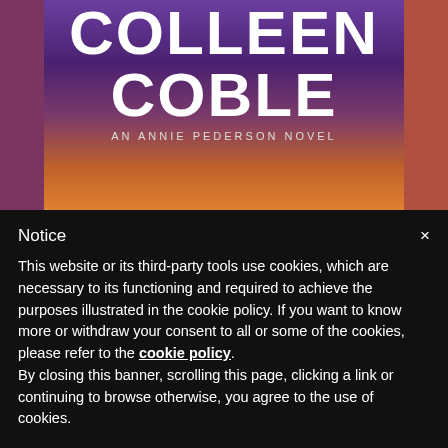[Figure (illustration): Book cover showing author name COLLEEN COBLE in large white bold text, subtitle AN ANNIE PEDERSON NOVEL, against a dramatic purple and orange stormy sky background, with mauve/salmon colored sidebars on left and right edges]
Notice
This website or its third-party tools use cookies, which are necessary to its functioning and required to achieve the purposes illustrated in the cookie policy. If you want to know more or withdraw your consent to all or some of the cookies, please refer to the cookie policy. By closing this banner, scrolling this page, clicking a link or continuing to browse otherwise, you agree to the use of cookies.